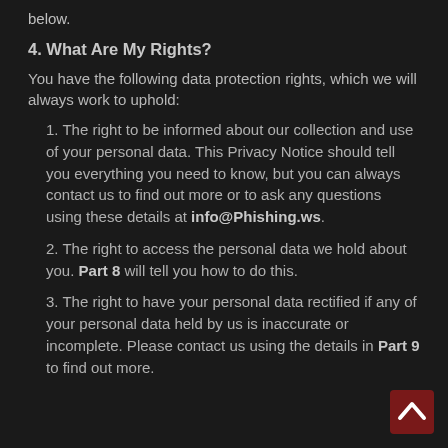below.
4. What Are My Rights?
You have the following data protection rights, which we will always work to uphold:
1. The right to be informed about our collection and use of your personal data. This Privacy Notice should tell you everything you need to know, but you can always contact us to find out more or to ask any questions using these details at info@Phishing.ws.
2. The right to access the personal data we hold about you. Part 8 will tell you how to do this.
3. The right to have your personal data rectified if any of your personal data held by us is inaccurate or incomplete. Please contact us using the details in Part 9 to find out more.